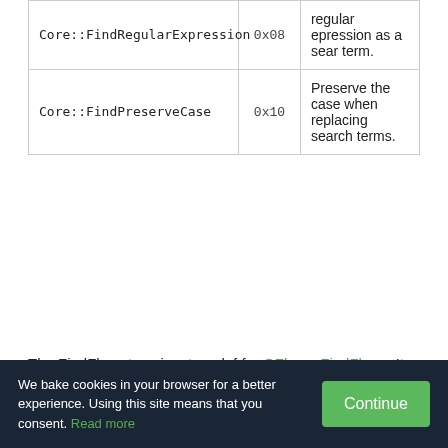| Name | Value | Description |
| --- | --- | --- |
| Core::FindRegularExpression | 0x08 | regular epression as a sear term. |
| Core::FindPreserveCase | 0x10 | Preserve the case when replacing search terms. |
The FindFlags type is a typedef for QFlags<FindFlag>. It stores an OR combination of FindFlag values.
© 2021 The Qt Company Ltd. Documentation contributions included herein are the copyrights of their respective owners. The documentation provided herein is licensed under the terms of the GNU Free Documentation License version 1.3 as published by the Free Software Foundation. Qt and
We bake cookies in your browser for a better experience. Using this site means that you consent. Read more